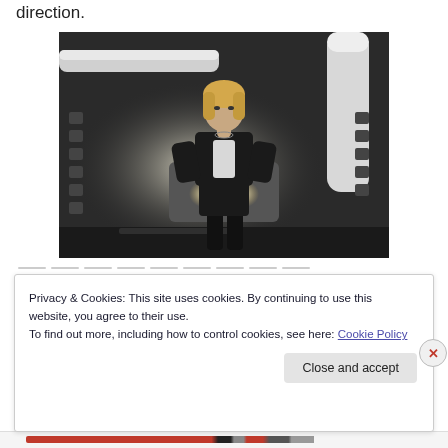direction.
[Figure (photo): A woman in a black business suit standing confidently in what appears to be an industrial or car wash facility, with pipes and equipment visible in the background and a car with headlights on behind her.]
Privacy & Cookies: This site uses cookies. By continuing to use this website, you agree to their use.
To find out more, including how to control cookies, see here: Cookie Policy
Close and accept